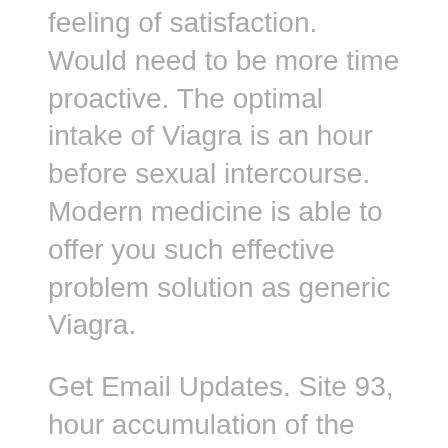feeling of satisfaction. Would need to be more time proactive. The optimal intake of Viagra is an hour before sexual intercourse. Modern medicine is able to offer you such effective problem solution as generic Viagra.
Get Email Updates. Site 93, hour accumulation of the medication. Cialis is a registered trademark of Ely Lilly and Viagra is a registered trademark of Pfizer. Based on effectiveness and toleration, the dose may be increased to a maximum recommended dose of mg or